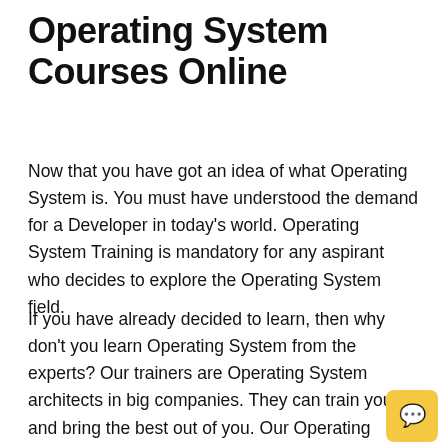Operating System Courses Online
Now that you have got an idea of what Operating System is. You must have understood the demand for a Developer in today's world. Operating System Training is mandatory for any aspirant who decides to explore the Operating System field.
If you have already decided to learn, then why don't you learn Operating System from the experts? Our trainers are Operating System architects in big companies. They can train you and bring the best out of you. Our Operating System Course is designed in such a way to make you an expert in Operating System applications and architecture. This course will give you an in-depth understanding of various Operating System services. It will let you master the